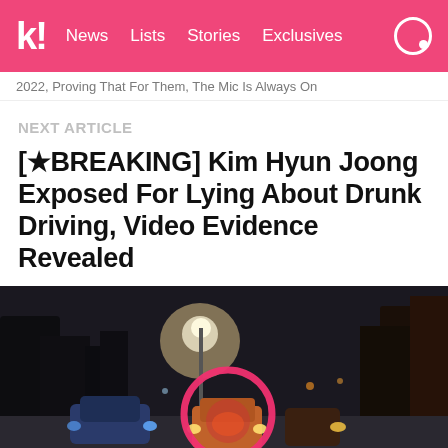k! News Lists Stories Exclusives
2022, Proving That For Them, The Mic Is Always On
NEXT ARTICLE
[★BREAKING] Kim Hyun Joong Exposed For Lying About Drunk Driving, Video Evidence Revealed
[Figure (photo): Nighttime street scene with cars, bright lights, and a pink circle highlighting something in the center of the road, dark trees in background]